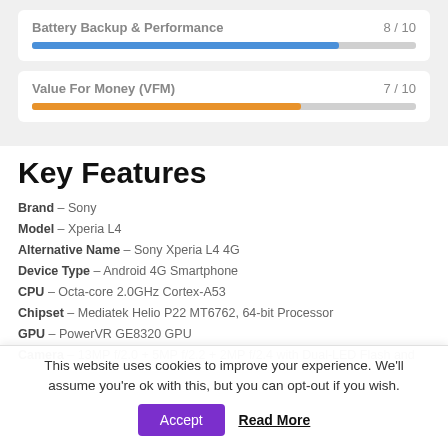[Figure (bar-chart): Battery Backup & Performance]
[Figure (bar-chart): Value For Money (VFM)]
Key Features
Brand – Sony
Model – Xperia L4
Alternative Name – Sony Xperia L4 4G
Device Type – Android 4G Smartphone
CPU – Octa-core 2.0GHz Cortex-A53
Chipset – Mediatek Helio P22 MT6762, 64-bit Processor
GPU – PowerVR GE8320 GPU
Camera – 13MP f/2.0 + 5MP f/2.2 + 2MP f/2.4 with Dual-LED Flash and
This website uses cookies to improve your experience. We'll assume you're ok with this, but you can opt-out if you wish. Accept Read More